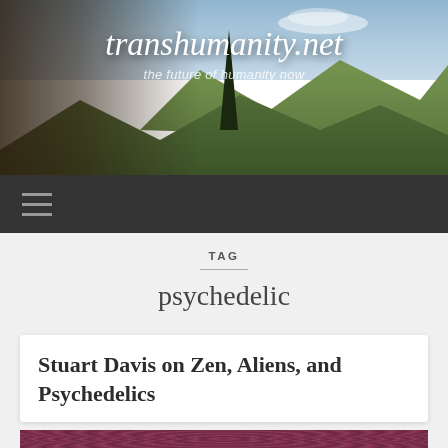transhumanity.net — the future of humanity now
TAG
psychedelic
Stuart Davis on Zen, Aliens, and Psychedelics
[Figure (photo): Bottom decorative image strip with reddish-purple ornamental pattern]